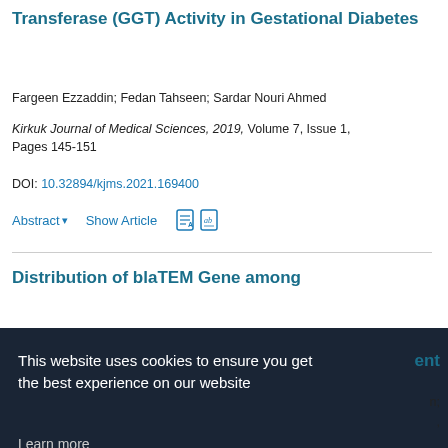Transferase (GGT) Activity in Gestational Diabetes
Fargeen Ezzaddin; Fedan Tahseen; Sardar Nouri Ahmed
Kirkuk Journal of Medical Sciences, 2019, Volume 7, Issue 1, Pages 145-151
DOI: 10.32894/kjms.2021.169400
Abstract ▾   Show Article
Distribution of blaTEM Gene among
This website uses cookies to ensure you get the best experience on our website
Learn more
Got it!